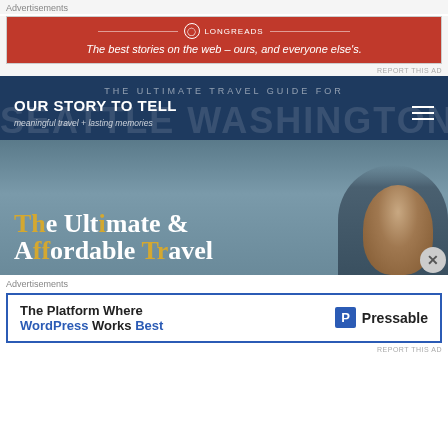Advertisements
[Figure (screenshot): Longreads advertisement banner in red: 'The best stories on the web – ours, and everyone else's.']
REPORT THIS AD
THE ULTIMATE TRAVEL GUIDE FOR SEATTLE WASHINGTON
OUR STORY TO TELL
meaningful travel + lasting memories
[Figure (photo): Hero image with blue-grey sky background. Text overlay: 'The Ultimate & Affordable Travel' with gold highlights on certain letters (Th, ti, ff, Tr). A person's head is partially visible on the right side.]
Advertisements
[Figure (screenshot): Pressable advertisement: 'The Platform Where WordPress Works Best' with Pressable logo on right.]
REPORT THIS AD